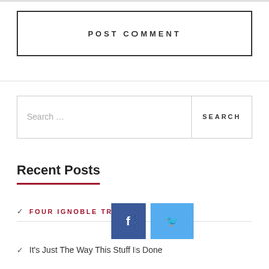POST COMMENT
Search ...
SEARCH
Recent Posts
FOUR IGNOBLE TRUTHS
It's Just The Way This Stuff Is Done